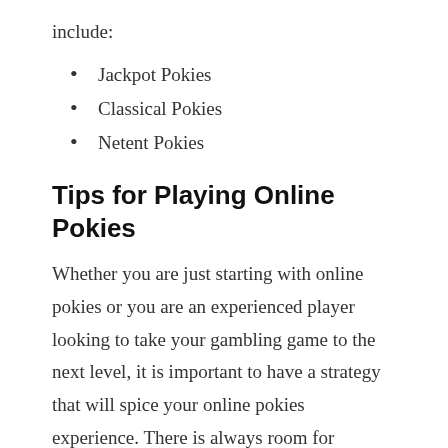include:
Jackpot Pokies
Classical Pokies
Netent Pokies
Tips for Playing Online Pokies
Whether you are just starting with online pokies or you are an experienced player looking to take your gambling game to the next level, it is important to have a strategy that will spice your online pokies experience. There is always room for improvement no matter your standards. All it takes is training and determination. The simplest and most